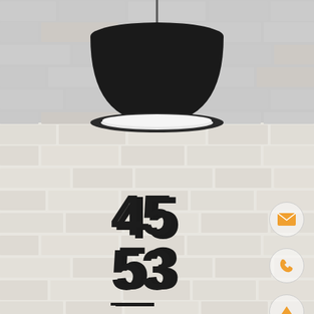[Figure (photo): Black pendant lamp hanging from ceiling over a white painted brick wall background]
45
53
FINISHED PROJECTS
[Figure (infographic): Three circular icon buttons on the right side: email/envelope icon, phone icon, and upward arrow icon, all in orange color with light circular borders]